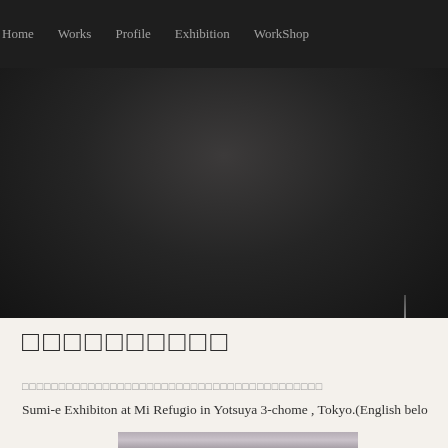Home  Works  Profile  Exhibition  WorkShop
[Figure (photo): Dark banner/hero image area with gradient dark background]
□□□□□□□□□□
□□□□□□□□□□□□□□□□□□□□□□□□□□□□□□□□□□□□□□□□□
Sumi-e Exhibiton at Mi Refugio in Yotsuya 3-chome , Tokyo.(English belo
[Figure (photo): Partial photo strip visible at bottom of page showing an exhibition or artwork display]